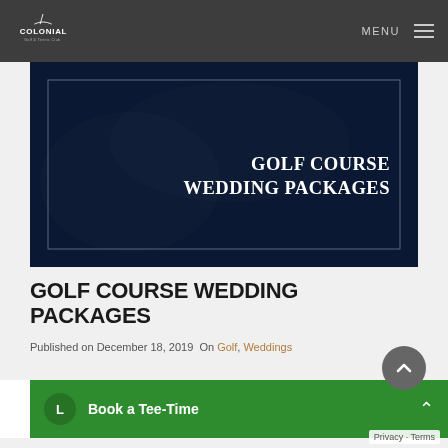Colonial Golf & Tennis Club — MENU
[Figure (photo): Dark navy blue hero banner with white bordered rectangle overlay, containing text 'GOLF COURSE WEDDING PACKAGES' in white serif bold font on the right side.]
GOLF COURSE WEDDING PACKAGES
Published on December 18, 2019  On Golf, Weddings
Book a Tee-Time
commemorate such an important milestone in their love stories with a wedding where they can invite their families